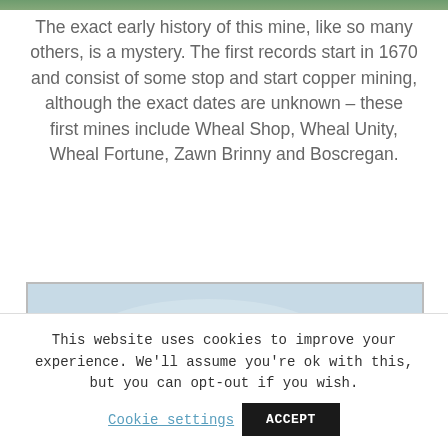[Figure (photo): Top sliver of a landscape photo showing green vegetation]
The exact early history of this mine, like so many others, is a mystery. The first records start in 1670 and consist of some stop and start copper mining, although the exact dates are unknown – these first mines include Wheal Shop, Wheal Unity, Wheal Fortune, Zawn Brinny and Boscregan.
[Figure (photo): Photo of a tall red-brown brick chimney stack against a pale grey-blue overcast sky, set inside a bordered frame]
This website uses cookies to improve your experience. We'll assume you're ok with this, but you can opt-out if you wish.
Cookie settings  ACCEPT